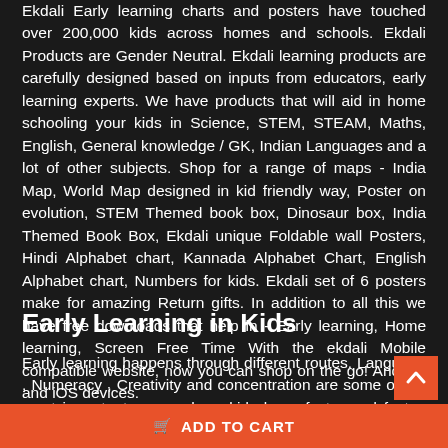Ekdali Early learning charts and posters have touched over 200,000 kids across homes and schools. Ekdali Products are Gender Neutral. Ekdali learning products are carefully designed based on inputs from educators, early learning experts. We have products that will aid in home schooling your kids in Science, STEM, STEAM, Maths, English, General knowledge / GK, Indian Languages and a lot of other subjects. Shop for a range of maps - India Map, World Map designed in kid friendly way, Poster on evolution, STEM Themed book box, Dinosaur box, India Themed Book Box, Ekdali unique Foldable wall Posters, Hindi Alphabet chart, Kannada Alphabet Chart, English Alphabet chart, Numbers for kids. Ekdali set of 6 posters make for amazing Return gifts. In addition to all this we have free downloads that help in - Early learning, Home learning, Screen Free Time With the ekdali Mobile compatible website, now you can shop on the go! Android and iOS devices.
Early Learning in Kids
Early learning happens through different routes. Language , Numeracy , Creativity and concentration are some of the most important areas where kids learn faster and faster. Activity based learning, learning while having fun, learning through gaming are some of the proven ways to kindle curiosity and accelerate the